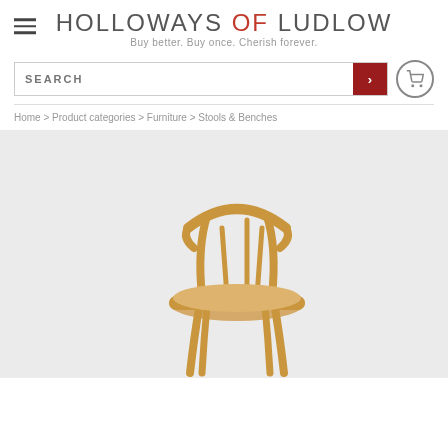HOLLOWAYS OF LUDLOW — Buy better. Buy once. Cherish forever.
SEARCH
Home > Product categories > Furniture > Stools & Benches
[Figure (photo): A wooden chair with curved armrests and spindle back on a light grey background]